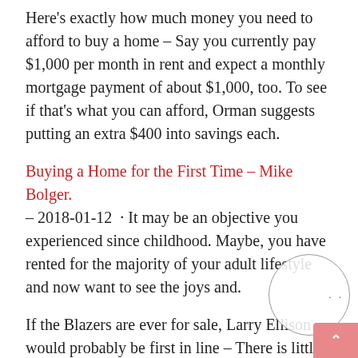Here's exactly how much money you need to afford to buy a home – Say you currently pay $1,000 per month in rent and expect a monthly mortgage payment of about $1,000, too. To see if that's what you can afford, Orman suggests putting an extra $400 into savings each.
Buying a Home for the First Time – Mike Bolger.
– 2018-01-12  · It may be an objective you experienced since childhood. Maybe, you have rented for the majority of your adult lifestyle and now want to see the joys and.
If the Blazers are ever for sale, Larry Ellison would probably be first in line – There is little doubt, if the franchise were to be put on the market, who would be the early odds-on favorite to buy it.